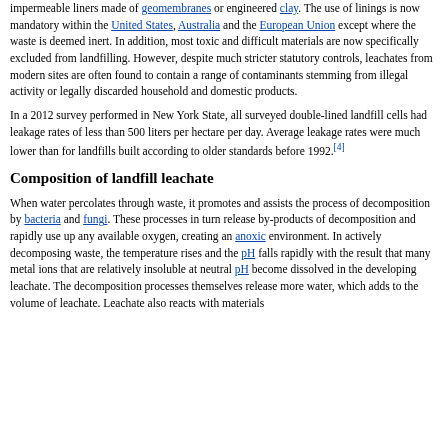impermeable liners made of geomembranes or engineered clay. The use of linings is now mandatory within the United States, Australia and the European Union except where the waste is deemed inert. In addition, most toxic and difficult materials are now specifically excluded from landfilling. However, despite much stricter statutory controls, leachates from modern sites are often found to contain a range of contaminants stemming from illegal activity or legally discarded household and domestic products.
In a 2012 survey performed in New York State, all surveyed double-lined landfill cells had leakage rates of less than 500 liters per hectare per day. Average leakage rates were much lower than for landfills built according to older standards before 1992.[4]
Composition of landfill leachate
When water percolates through waste, it promotes and assists the process of decomposition by bacteria and fungi. These processes in turn release by-products of decomposition and rapidly use up any available oxygen, creating an anoxic environment. In actively decomposing waste, the temperature rises and the pH falls rapidly with the result that many metal ions that are relatively insoluble at neutral pH become dissolved in the developing leachate. The decomposition processes themselves release more water, which adds to the volume of leachate. Leachate also reacts with materials